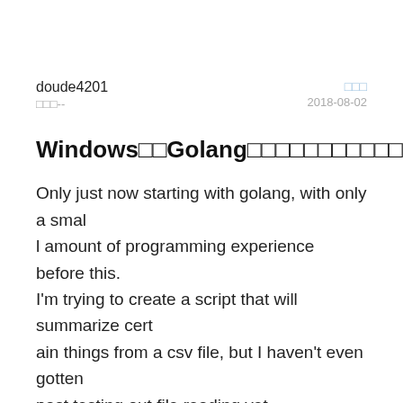doude4201
□□□--
□□□
2018-08-02
Windows□□Golang□□□□□□□□□□□□□□
Only just now starting with golang, with only a small amount of programming experience before this.
I'm trying to create a script that will summarize certain things from a csv file, but I haven't even gotten past testing out file reading yet.
I was having trouble reading the excel files, and kept getting the "System cannot find file specified" error. So I thought I'd see if I could at least get it to re...
□□□□ ∨